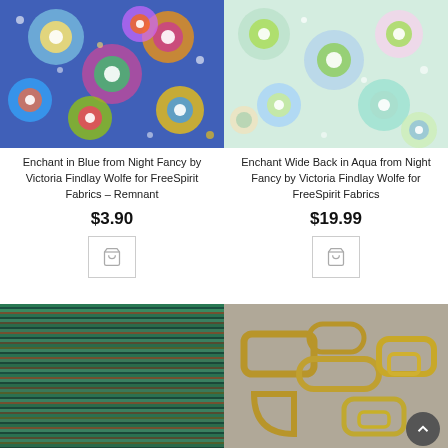[Figure (photo): Enchant in Blue floral fabric pattern – colorful kaleidoscope flowers on blue background]
[Figure (photo): Enchant Wide Back in Aqua floral fabric pattern – colorful kaleidoscope flowers on light aqua background]
Enchant in Blue from Night Fancy by Victoria Findlay Wolfe for FreeSpirit Fabrics – Remnant
Enchant Wide Back in Aqua from Night Fancy by Victoria Findlay Wolfe for FreeSpirit Fabrics
$3.90
$19.99
[Figure (photo): Teal striped woven fabric with small pattern detail]
[Figure (photo): Gold/brass metal hardware rings and clasps on grey surface]